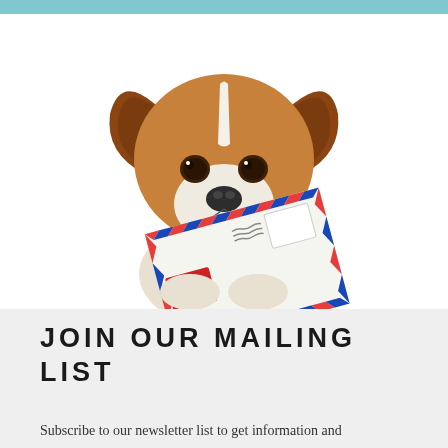[Figure (photo): A Jack Russell Terrier dog holding an airmail envelope in its mouth against a white background. The envelope has red and blue diamond border pattern typical of airmail letters, with postage stamps visible.]
JOIN OUR MAILING LIST
Subscribe to our newsletter list to get information and